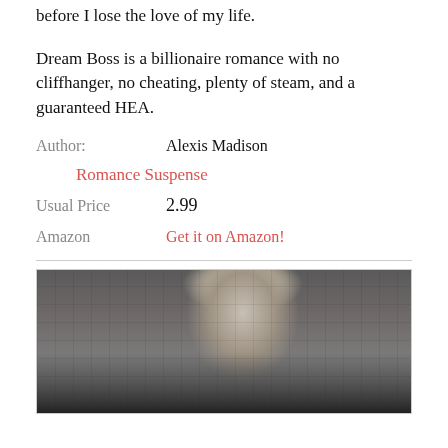before I lose the love of my life.
Dream Boss is a billionaire romance with no cliffhanger, no cheating, plenty of steam, and a guaranteed HEA.
Author:   Alexis Madison
Romance Suspense
Usual Price   2.99
Amazon   Get it on Amazon!
[Figure (photo): Black and white photo of a shirtless man with short hair, head tilted down, in front of a metal mesh or grid background.]